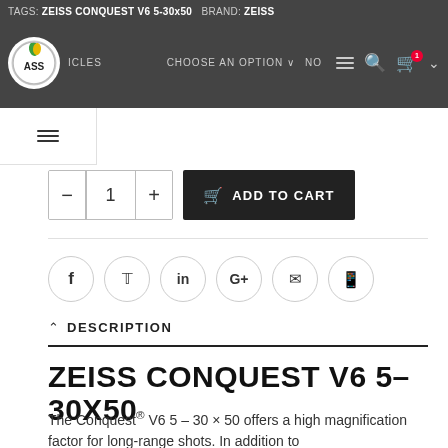TAGS: ZEISS CONQUEST V6 5-30x50 BRAND: ZEISS
[Figure (logo): ASS logo - circular green/yellow logo with text ASS]
CHOOSE AN OPTION
DESCRIPTION
ZEISS CONQUEST V6 5-30X50
The Conquest® V6 5 – 30 × 50 offers a high magnification factor for long-range shots. In addition to